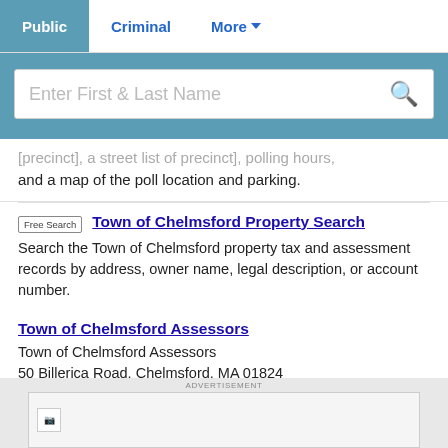Public | Criminal | More
[Figure (screenshot): Search bar with placeholder text 'Enter First & Last Name' and a search icon on a teal background]
[precinct], a street list of precincts, polling hours, and a map of the poll location and parking.
Town of Chelmsford Property Search
Search the Town of Chelmsford property tax and assessment records by address, owner name, legal description, or account number.
Town of Chelmsford Assessors
Town of Chelmsford Assessors
50 Billerica Road, Chelmsford, MA 01824
ADVERTISEMENT